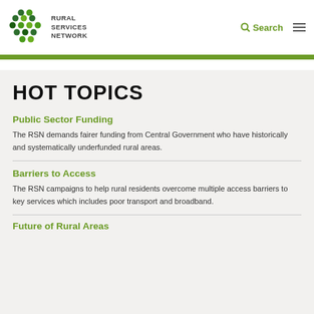[Figure (logo): Rural Services Network logo with green dot cluster and text]
Search
HOT TOPICS
Public Sector Funding
The RSN demands fairer funding from Central Government who have historically and systematically underfunded rural areas.
Barriers to Access
The RSN campaigns to help rural residents overcome multiple access barriers to key services which includes poor transport and broadband.
Future of Rural Areas